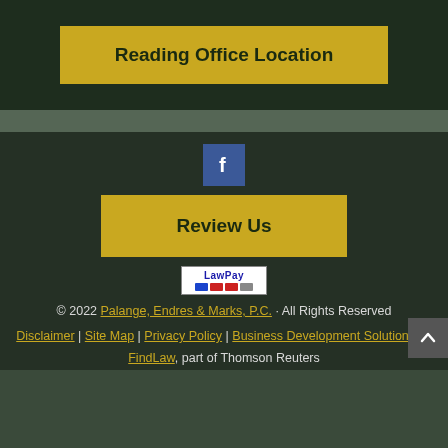Reading Office Location
[Figure (logo): Facebook icon button - blue square with white 'f' logo]
Review Us
[Figure (logo): LawPay payment badge with credit card icons]
© 2022 Palange, Endres & Marks, P.C. · All Rights Reserved
Disclaimer | Site Map | Privacy Policy | Business Development Solutions by FindLaw, part of Thomson Reuters